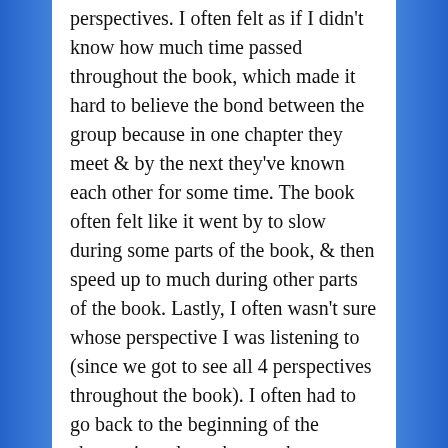perspectives. I often felt as if I didn't know how much time passed throughout the book, which made it hard to believe the bond between the group because in one chapter they meet & by the next they've known each other for some time. The book often felt like it went by to slow during some parts of the book, & then speed up to much during other parts of the book. Lastly, I often wasn't sure whose perspective I was listening to (since we got to see all 4 perspectives throughout the book). I often had to go back to the beginning of the chapter in order to know who was telling the story, which distracted me from what was happening in the story. Because of this, my enjoyment of the book definitely suffered despite the fact that the plot was a very interesting concept. I definitely would have loved it if the author just stuck with Troye & Adelaide's perspectives instead of using all four characters, because I think this would have helped focus the